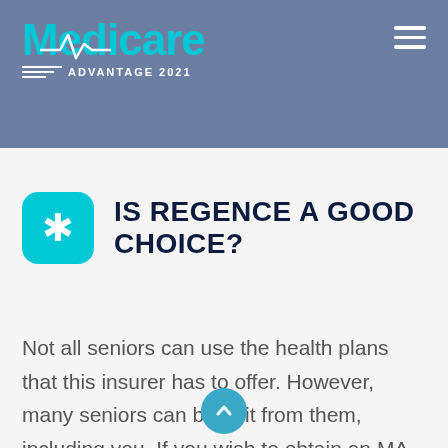Medicare Advantage 2021
IS REGENCE A GOOD CHOICE?
Not all seniors can use the health plans that this insurer has to offer. However, many seniors can benefit from them, including you. If you wish to obtain an MA plan from Regence, you